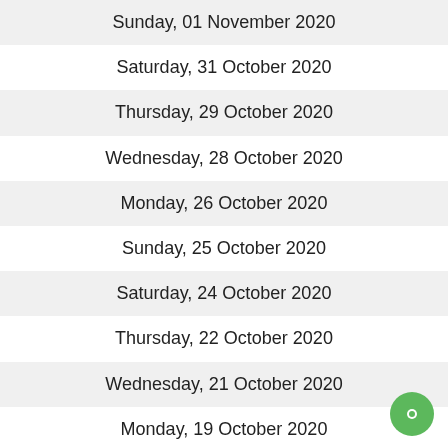Sunday, 01 November 2020
Saturday, 31 October 2020
Thursday, 29 October 2020
Wednesday, 28 October 2020
Monday, 26 October 2020
Sunday, 25 October 2020
Saturday, 24 October 2020
Thursday, 22 October 2020
Wednesday, 21 October 2020
Monday, 19 October 2020